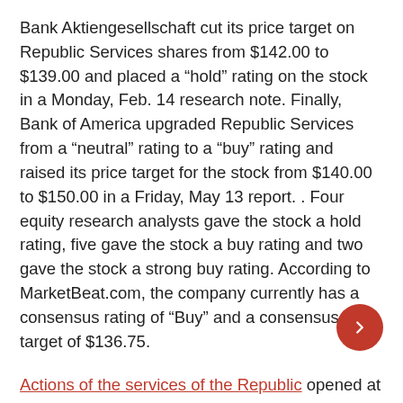Bank Aktiengesellschaft cut its price target on Republic Services shares from $142.00 to $139.00 and placed a “hold” rating on the stock in a Monday, Feb. 14 research note. Finally, Bank of America upgraded Republic Services from a “neutral” rating to a “buy” rating and raised its price target for the stock from $140.00 to $150.00 in a Friday, May 13 report. . Four equity research analysts gave the stock a hold rating, five gave the stock a buy rating and two gave the stock a strong buy rating. According to MarketBeat.com, the company currently has a consensus rating of “Buy” and a consensus price target of $136.75.
Actions of the services of the Republic opened at $127.51 on Friday. The company has a current ratio of 0.75, a quick ratio of 0.75 and a debt ratio